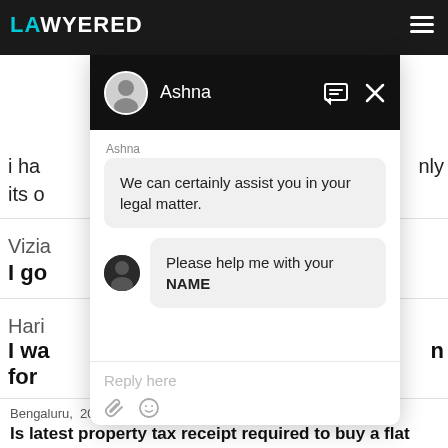[Figure (screenshot): LAWYERED legal platform header with logo in cyan and white text on dark background, hamburger menu icon top right]
[Figure (screenshot): Chat popup overlay with Ashna as agent. Header shows avatar and name on dark background with message and close icons. Chat body shows two messages: 'We can certainly assist you in your legal matter.' and 'Please help me with your NAME' (NAME in bold). Reply area shows placeholder text 'Reply here' and paperclip/emoji icons.]
Bengaluru,  20 Mar, 2021,  (1 year, 5 months ago)
Is latest property tax receipt required to buy a flat